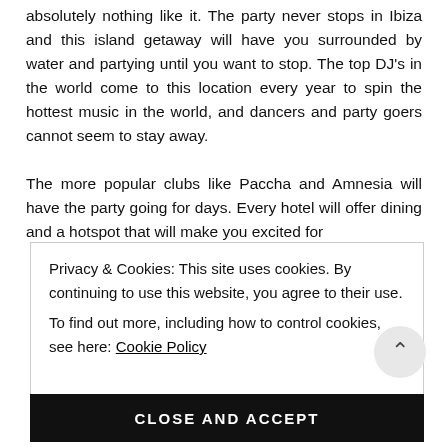absolutely nothing like it. The party never stops in Ibiza and this island getaway will have you surrounded by water and partying until you want to stop. The top DJ's in the world come to this location every year to spin the hottest music in the world, and dancers and party goers cannot seem to stay away.

The more popular clubs like Paccha and Amnesia will have the party going for days. Every hotel will offer dining and a hotspot that will make you excited for
Privacy & Cookies: This site uses cookies. By continuing to use this website, you agree to their use.
To find out more, including how to control cookies, see here: Cookie Policy
CLOSE AND ACCEPT